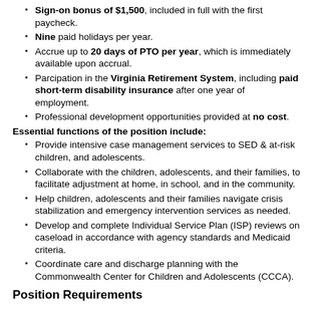Sign-on bonus of $1,500, included in full with the first paycheck.
Nine paid holidays per year.
Accrue up to 20 days of PTO per year, which is immediately available upon accrual.
Parcipation in the Virginia Retirement System, including paid short-term disability insurance after one year of employment.
Professional development opportunities provided at no cost.
Essential functions of the position include:
Provide intensive case management services to SED & at-risk children, and adolescents.
Collaborate with the children, adolescents, and their families, to facilitate adjustment at home, in school, and in the community.
Help children, adolescents and their families navigate crisis stabilization and emergency intervention services as needed.
Develop and complete Individual Service Plan (ISP) reviews on caseload in accordance with agency standards and Medicaid criteria.
Coordinate care and discharge planning with the Commonwealth Center for Children and Adolescents (CCCA).
Position Requirements